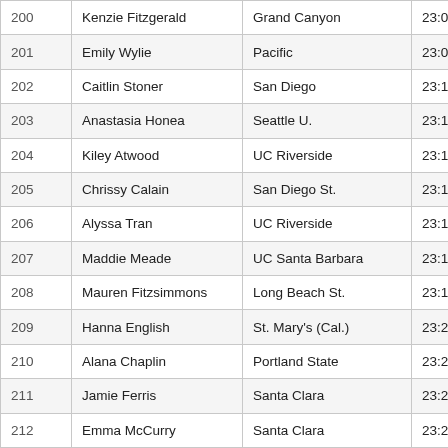| 200 | Kenzie Fitzgerald | Grand Canyon | 23:06.6 | 197 |
| 201 | Emily Wylie | Pacific | 23:09.1 | 198 |
| 202 | Caitlin Stoner | San Diego | 23:10.1 | 199 |
| 203 | Anastasia Honea | Seattle U. | 23:10.7 | 200 |
| 204 | Kiley Atwood | UC Riverside | 23:13.0 | 201 |
| 205 | Chrissy Calain | San Diego St. | 23:13.5 | 202 |
| 206 | Alyssa Tran | UC Riverside | 23:13.7 | 203 |
| 207 | Maddie Meade | UC Santa Barbara | 23:15.2 | 204 |
| 208 | Mauren Fitzsimmons | Long Beach St. | 23:18.9 | 205 |
| 209 | Hanna English | St. Mary's (Cal.) | 23:22.4 | 206 |
| 210 | Alana Chaplin | Portland State | 23:23.1 | 207 |
| 211 | Jamie Ferris | Santa Clara | 23:25.5 | 208 |
| 212 | Emma McCurry | Santa Clara | 23:27.4 | 209 |